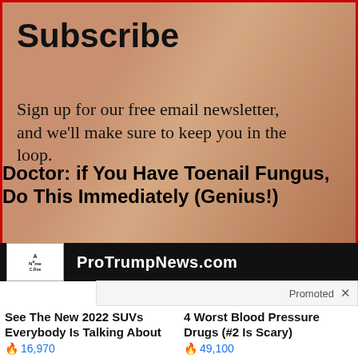[Figure (screenshot): Subscribe newsletter signup box with red border. Shows a background photo (person lying down with hat). Bold 'Subscribe' heading. Text: 'Sign up for our free email newsletter, and we'll make sure to keep you in the loop.' Overlaid by ad text: 'Doctor: if You Have Toenail Fungus, Do This Immediately (Genius!)']
[Figure (screenshot): ProTrumpNews.com banner ad with dark background, small logo image on left and site name in white bold text. 'Promoted X' label bar below.]
[Figure (screenshot): Article card: photo of medical/sleep apnea equipment. Title: 'See The New 2022 SUVs Everybody Is Talking About'. Count: 16,970]
[Figure (screenshot): Article card: photo of prescription pill bottles. Title: '4 Worst Blood Pressure Drugs (#2 Is Scary)'. Count: 49,100]